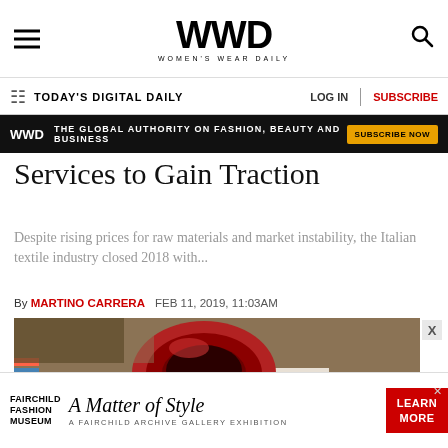WWD WOMEN'S WEAR DAILY
TODAY'S DIGITAL DAILY   LOG IN   SUBSCRIBE
WWD THE GLOBAL AUTHORITY ON FASHION, BEAUTY AND BUSINESS SUBSCRIBE NOW
Services to Gain Traction
Despite rising prices for raw materials and market instability, the Italian textile industry closed 2018 with...
By MARTINO CARRERA   FEB 11, 2019, 11:03AM
[Figure (photo): Overhead view of fabric samples and textiles arranged around a large circular red display bowl at what appears to be a trade show or exhibition.]
[Figure (other): Fairchild Fashion Museum advertisement: A Matter of Style - A Fairchild Archive Gallery Exhibition. LEARN MORE button.]